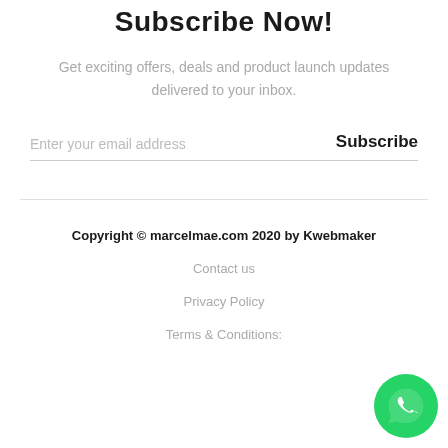Subscribe Now!
Get exciting offers, deals and product launch updates delivered to your inbox.
Enter your email address	Subscribe
Copyright © marcelmae.com 2020 by Kwebmaker
Contact us
Privacy Policy
Terms & Conditions:
[Figure (logo): WhatsApp green circular button with phone handset icon]